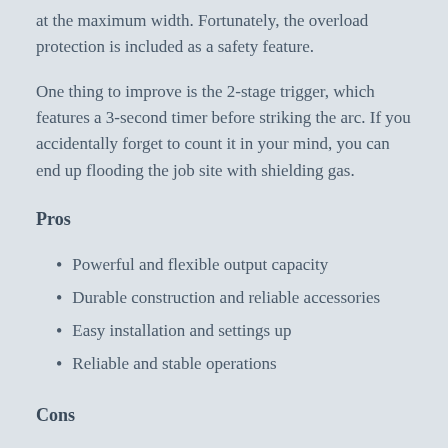at the maximum width. Fortunately, the overload protection is included as a safety feature.
One thing to improve is the 2-stage trigger, which features a 3-second timer before striking the arc. If you accidentally forget to count it in your mind, you can end up flooding the job site with shielding gas.
Pros
Powerful and flexible output capacity
Durable construction and reliable accessories
Easy installation and settings up
Reliable and stable operations
Cons